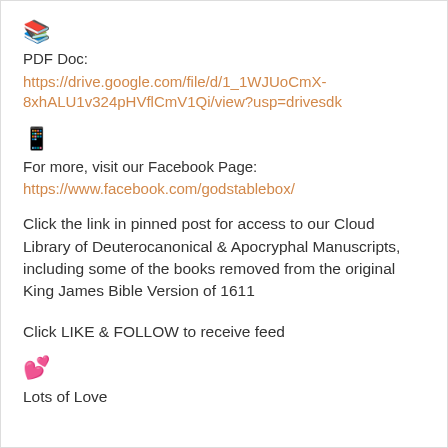[Figure (other): Books/documents emoji icon]
PDF Doc:
https://drive.google.com/file/d/1_1WJUoCmX-8xhALU1v324pHVflCmV1Qi/view?usp=drivesdk
[Figure (other): Mobile phone with arrow emoji]
For more, visit our Facebook Page:
https://www.facebook.com/godstablebox/
Click the link in pinned post for access to our Cloud Library of Deuterocanonical & Apocryphal Manuscripts, including some of the books removed from the original King James Bible Version of 1611
Click LIKE & FOLLOW to receive feed
[Figure (other): Two red heart emoji]
Lots of Love